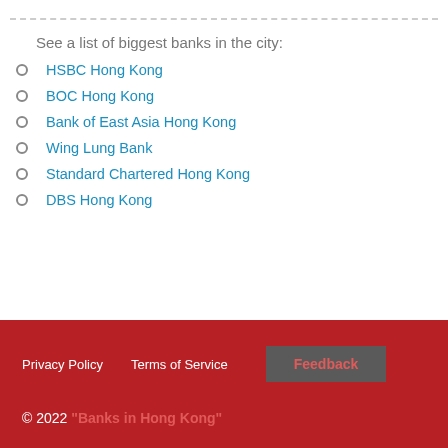See a list of biggest banks in the city:
HSBC Hong Kong
BOC Hong Kong
Bank of East Asia Hong Kong
Wing Lung Bank
Standard Chartered Hong Kong
DBS Hong Kong
Privacy Policy   Terms of Service   Feedback   © 2022 "Banks in Hong Kong"